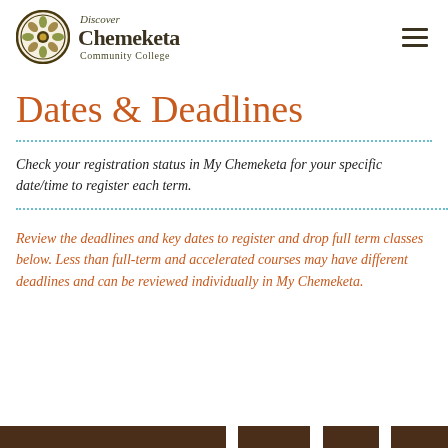[Figure (logo): Discover Chemeketa Community College logo with circular emblem containing decorative pattern in olive green and brown]
Dates & Deadlines
Check your registration status in My Chemeketa for your specific date/time to register each term.
Review the deadlines and key dates to register and drop full term classes below. Less than full-term and accelerated courses may have different deadlines and can be reviewed individually in My Chemeketa.